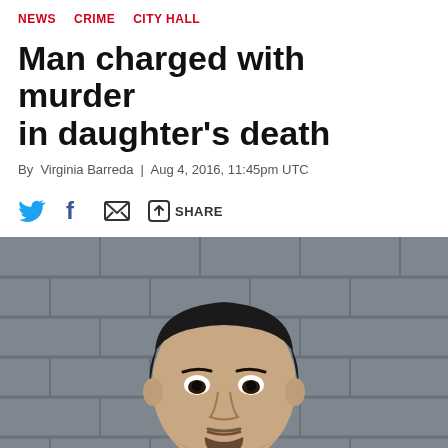NEWS   CRIME   CITY HALL
Man charged with murder in daughter's death
By Virginia Barreda | Aug 4, 2016, 11:45pm UTC
[Figure (other): Social sharing icons: Twitter bird, Facebook f, envelope/email, share arrow, and SHARE label]
[Figure (photo): Mugshot photograph of a young Hispanic man with dark hair and a goatee, facing forward against a gray cinder block wall background]